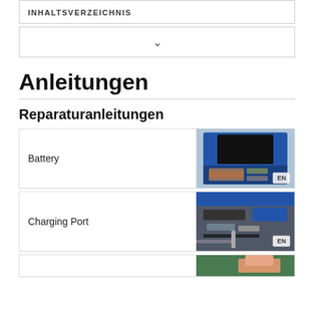INHALTSVERZEICHNIS
Anleitungen
Reparaturanleitungen
[Figure (photo): Blue laptop opened showing internal components including motherboard and components, with EN badge]
Battery
[Figure (photo): Close-up of laptop internal components with blue casing and charging port area visible, with EN badge]
Charging Port
[Figure (photo): Partial view of a laptop repair image with green background visible at top]